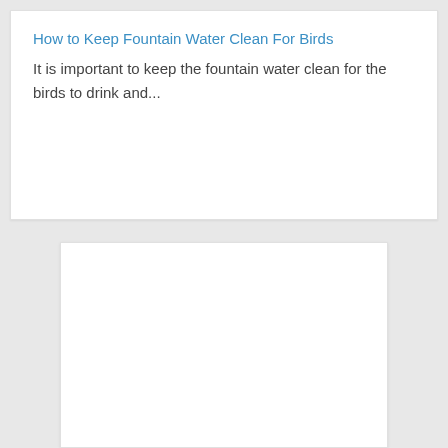How to Keep Fountain Water Clean For Birds
It is important to keep the fountain water clean for the birds to drink and...
[Figure (other): Empty white card/panel in the lower portion of the page against a grey background]